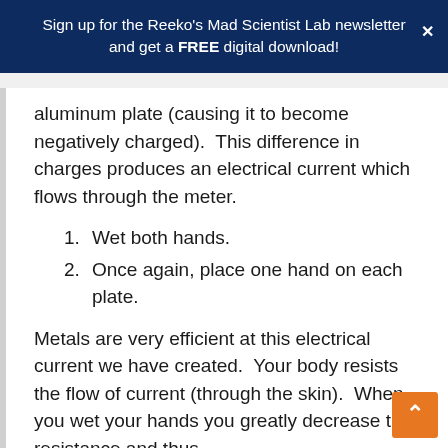Sign up for the Reeko's Mad Scientist Lab newsletter and get a FREE digital download!
aluminum plate (causing it to become negatively charged).  This difference in charges produces an electrical current which flows through the meter.
Wet both hands.
Once again, place one hand on each plate.
Metals are very efficient at this electrical current we have created.  Your body resists the flow of current (through the skin).  When you wet your hands you greatly decrease the resistance and thus